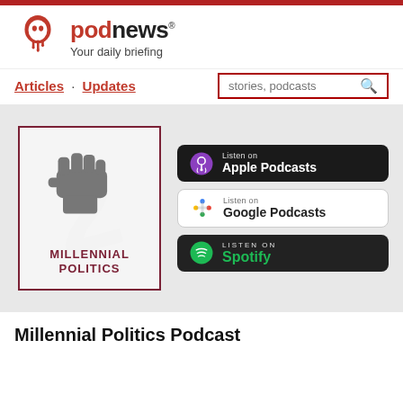[Figure (logo): Podnews logo — dripping microphone icon in red with 'podnews' text and 'Your daily briefing' tagline]
Articles · Updates
[Figure (screenshot): Millennial Politics podcast cover art: dark red border, raised fist illustration in grey, text 'MILLENNIAL POLITICS' in dark red]
[Figure (logo): Listen on Apple Podcasts button]
[Figure (logo): Listen on Google Podcasts button]
[Figure (logo): Listen on Spotify button]
Millennial Politics Podcast